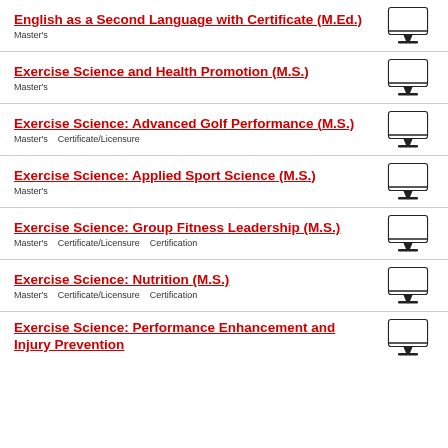English as a Second Language with Certificate (M.Ed.)
Master's
Exercise Science and Health Promotion (M.S.)
Master's
Exercise Science: Advanced Golf Performance (M.S.)
Master's   Certificate/Licensure
Exercise Science: Applied Sport Science (M.S.)
Master's
Exercise Science: Group Fitness Leadership (M.S.)
Master's   Certificate/Licensure   Certification
Exercise Science: Nutrition (M.S.)
Master's   Certificate/Licensure   Certification
Exercise Science: Performance Enhancement and Injury Prevention